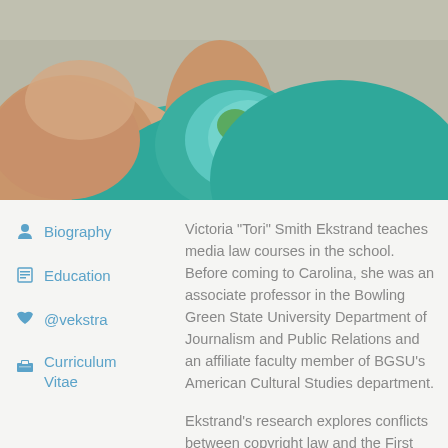[Figure (photo): Close-up photo of a person wearing a teal/green sleeveless top and a colorful scarf with floral pattern tied around the neck]
Biography
Education
@vekstra
Curriculum Vitae
Victoria "Tori" Smith Ekstrand teaches media law courses in the school. Before coming to Carolina, she was an associate professor in the Bowling Green State University Department of Journalism and Public Relations and an affiliate faculty member of BGSU's American Cultural Studies department.
Ekstrand's research explores conflicts between copyright law and the First Amendment, particularly as they arise in journalism and social media. Her